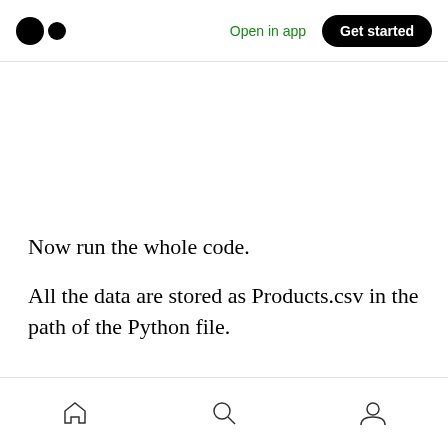Medium logo | Open in app | Get started
Now run the whole code.
All the data are stored as Products.csv in the path of the Python file.
[Figure (screenshot): Screenshot of Microsoft Excel showing the ribbon toolbar with File, Home, Insert, Page Layout, Formulas, Data, Review, View tabs and various formatting controls. A spreadsheet grid is visible at the bottom.]
Home | Search | Profile